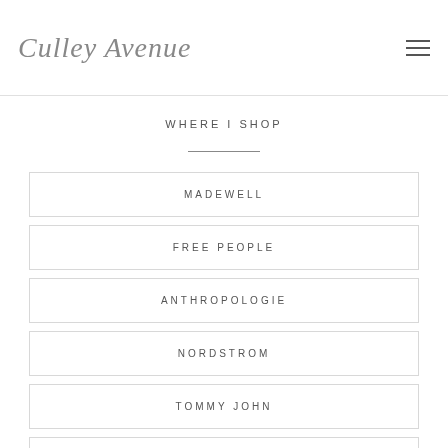Culley Avenue
WHERE I SHOP
MADEWELL
FREE PEOPLE
ANTHROPOLOGIE
NORDSTROM
TOMMY JOHN
POSHMARK